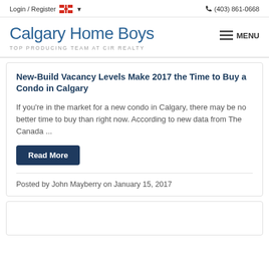Login / Register  🇨🇦 ▾    📞 (403) 861-0668
Calgary Home Boys
TOP PRODUCING TEAM AT CIR REALTY
New-Build Vacancy Levels Make 2017 the Time to Buy a Condo in Calgary
If you're in the market for a new condo in Calgary, there may be no better time to buy than right now. According to new data from The Canada ...
Read More
Posted by John Mayberry on January 15, 2017